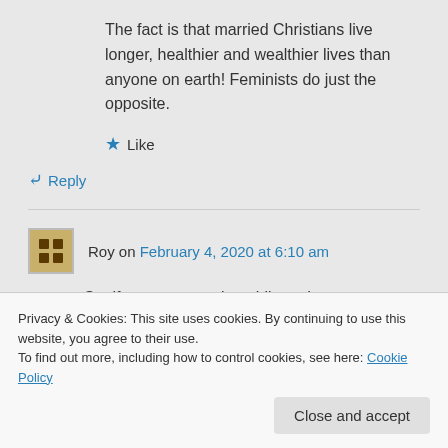The fact is that married Christians live longer, healthier and wealthier lives than anyone on earth! Feminists do just the opposite.
Like
Reply
Roy on February 4, 2020 at 6:10 am
So, if you were out in public and
what about all the widows, who
Privacy & Cookies: This site uses cookies. By continuing to use this website, you agree to their use.
To find out more, including how to control cookies, see here: Cookie Policy
Close and accept